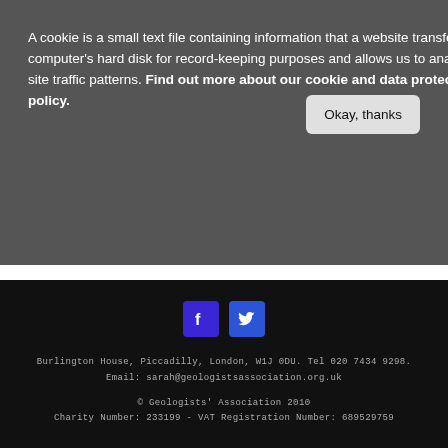A cookie is a small text file containing information that a website transfers to your computer's hard disk for record-keeping purposes and allows us to analyse our site traffic patterns. Find out more about our cookie and data protection policy.
Okay, thanks
Privacy and Cookies
Follow us on Twitter
Tweets by @GeolAssoc
[Figure (logo): Facebook and Twitter social media icons in blue squares]
Burlington House, Piccadilly, London, W1J 0DU. Tel 020 7434 9298. Email: sarah@geologistsassociation.org.uk  © Geologists' Association 2010 Charity Number: 233199 - VAT Registration Number: 689529759